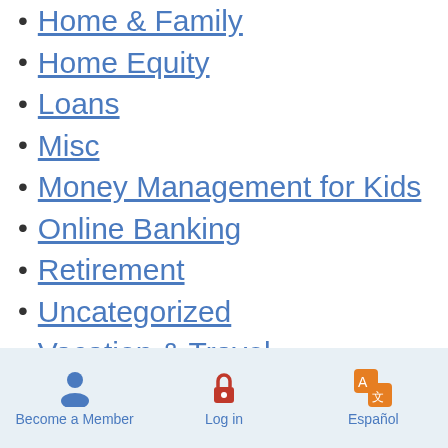Home & Family
Home Equity
Loans
Misc
Money Management for Kids
Online Banking
Retirement
Uncategorized
Vacation & Travel
Welcome to allU.S.
Meta
Log in
Become a Member | Log in | Español